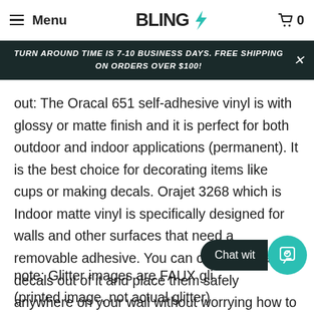Menu | BLING | 0
TURN AROUND TIME IS 7-10 BUSINESS DAYS. FREE SHIPPING ON ORDERS OVER $100!
out: The Oracal 651 self-adhesive vinyl is with glossy or matte finish and it is perfect for both outdoor and indoor applications (permanent). It is the best choice for decorating items like cups or making decals. Orajet 3268 which is Indoor matte vinyl is specifically designed for walls and other surfaces that need a removable adhesive. You can cut great wall decals out of it and place them safely anywhere on your wall without worrying how to take it off.
note: Glitter images are FAUX gl... (printed image, not actual glitter)